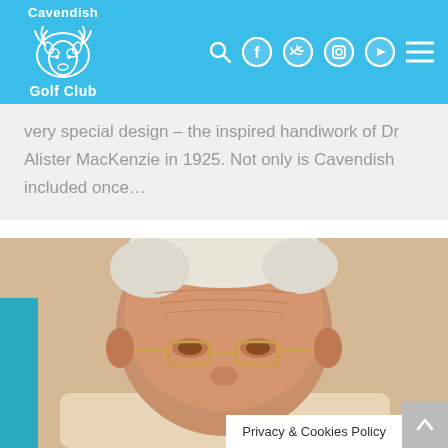Cavendish Golf Club
very special design – the inspired handiwork of Dr Alister MacKenzie in 1925. Not only is Cavendish included once...
[Figure (photo): Close-up photo of an elderly man with white hair and glasses, wearing a light-coloured shirt. A teal/blue garment is visible at the left edge.]
Privacy & Cookies  Policy